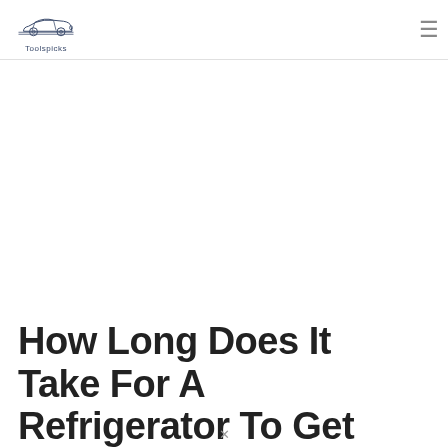Toolspicks
[Figure (other): Blank advertisement/image space]
How Long Does It Take For A Refrigerator To Get Cold After Being Unplugged?